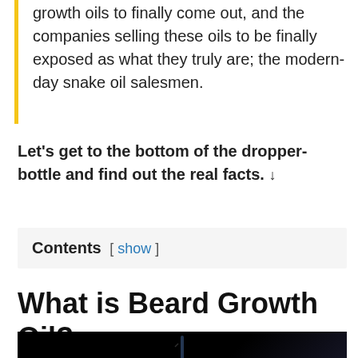growth oils to finally come out, and the companies selling these oils to be finally exposed as what they truly are; the modern-day snake oil salesmen.
Let's get to the bottom of the dropper-bottle and find out the real facts. ↓
Contents [ show ]
What is Beard Growth Oil?
[Figure (photo): Dark background photo showing a dropper/pipette bottle, partially visible at the bottom of the page]